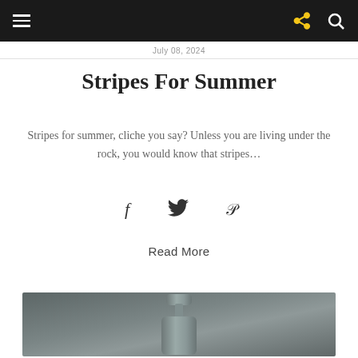July 08, 2024
Stripes For Summer
Stripes for summer, cliche you say? Unless you are living under the rock, you would know that stripes…
[Figure (infographic): Social share icons: Facebook (f), Twitter bird, Pinterest (P)]
Read More
[Figure (photo): Close-up photo of a grey pump/dispenser bottle against a grey blurred background]